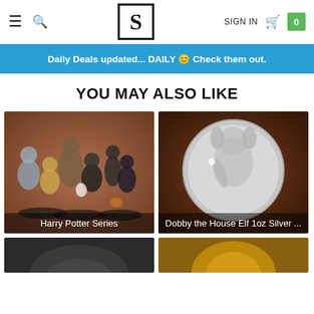S | SIGN IN | 0
Daily Deals updated... DAILY 😊 Check them out.
YOU MAY ALSO LIKE
[Figure (photo): Harry Potter Series figurines — miniature characters from the Harry Potter franchise displayed on wooden surface]
Harry Potter Series
[Figure (photo): Dobby the House Elf 1oz Silver coin showing Dobby engraved on silver coin against wooden background]
Dobby the House Elf 1oz Silver ...
[Figure (photo): Partial view of dark-colored product, bottom-left]
[Figure (photo): Partial view of golden-toned product, bottom-right]